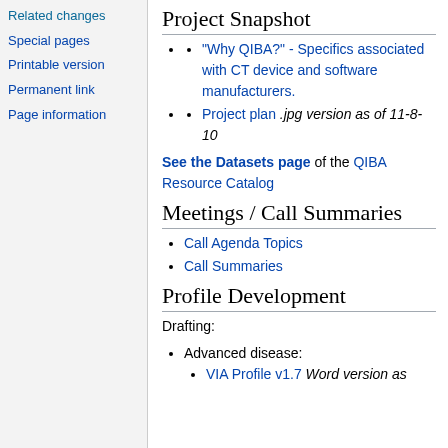Related changes
Special pages
Printable version
Permanent link
Page information
Project Snapshot
"Why QIBA?" - Specifics associated with CT device and software manufacturers.
Project plan .jpg version as of 11-8-10
See the Datasets page of the QIBA Resource Catalog
Meetings / Call Summaries
Call Agenda Topics
Call Summaries
Profile Development
Drafting:
Advanced disease:
VIA Profile v1.7 Word version as